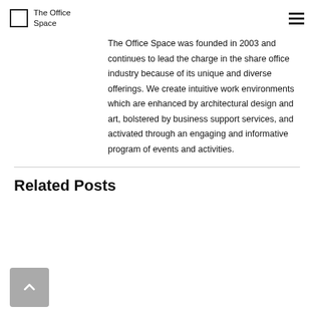The Office Space
The Office Space was founded in 2003 and continues to lead the charge in the share office industry because of its unique and diverse offerings. We create intuitive work environments which are enhanced by architectural design and art, bolstered by business support services, and activated through an engaging and informative program of events and activities.
Related Posts